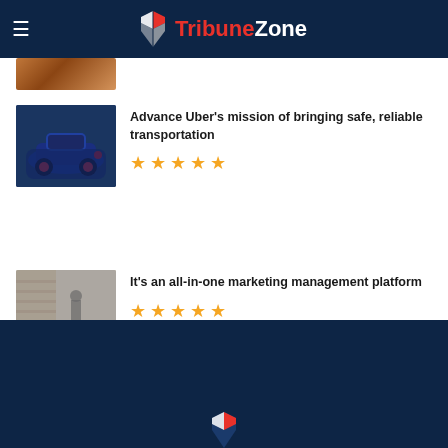TribuneZone
[Figure (photo): Partial thumbnail image strip at top, reddish-brown tones]
Advance Uber’s mission of bringing safe, reliable transportation
[Figure (photo): Blue sports car thumbnail]
[Figure (other): Five gold/orange star rating icons]
It’s an all-in-one marketing management platform
[Figure (photo): Office interior thumbnail showing people]
[Figure (other): Five gold/orange star rating icons]
TribuneZone footer